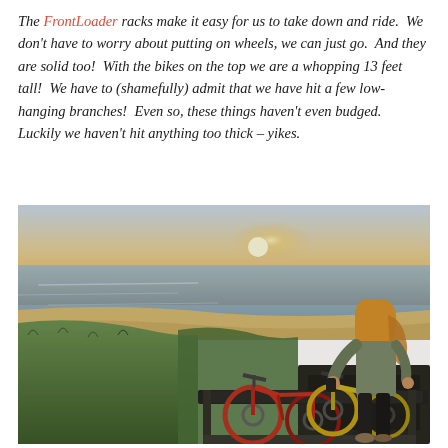The FrontLoader racks make it easy for us to take down and ride. We don't have to worry about putting on wheels, we can just go. And they are solid too! With the bikes on the top we are a whopping 13 feet tall! We have to (shamefully) admit that we have hit a few low-hanging branches! Even so, these things haven't even budged. Luckily we haven't hit anything too thick – yikes.
[Figure (photo): A woman with long blonde hair wearing a grey-green jacket and black leggings loads bicycles (including a yellow and red mountain bike) onto a vehicle rack, with a coastal beach scene at sunset in the background.]